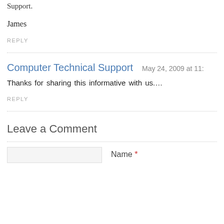Support.
James
REPLY
Computer Technical Support   May 24, 2009 at 11:
Thanks for sharing this informative with us....
REPLY
Leave a Comment
Name *